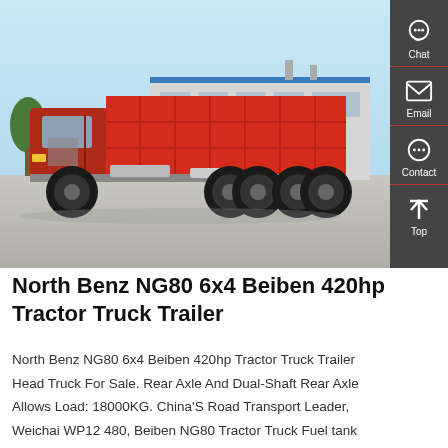[Figure (photo): Red North Benz NG80 dump truck parked in front of a grey industrial building with blue trim, taken outdoors on a clear day.]
North Benz NG80 6x4 Beiben 420hp Tractor Truck Trailer
North Benz NG80 6x4 Beiben 420hp Tractor Truck Trailer Head Truck For Sale. Rear Axle And Dual-Shaft Rear Axle Allows Load: 18000KG. China'S Road Transport Leader, Weichai WP12 480, Beiben NG80 Tractor Truck Fuel tank